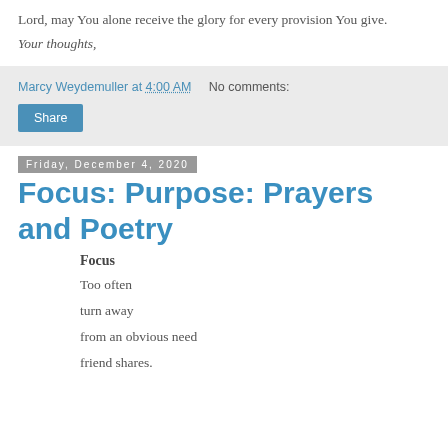Lord, may You alone receive the glory for every provision You give.
Your thoughts,
Marcy Weydemuller at 4:00 AM   No comments:
Share
Friday, December 4, 2020
Focus: Purpose: Prayers and Poetry
Focus
Too often
turn away
from an obvious need
friend shares.